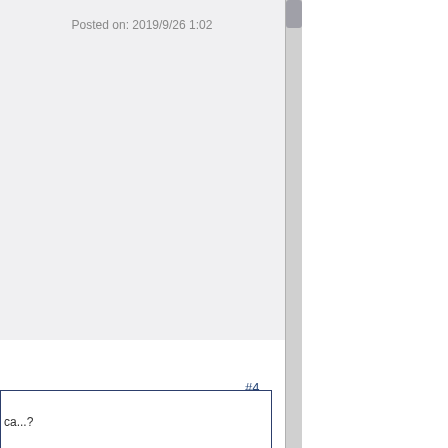Posted on: 2019/9/26 1:02
#4
ca...?